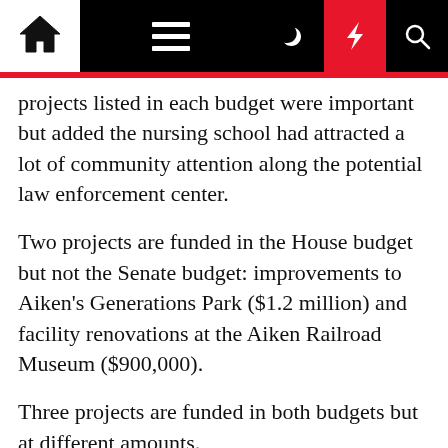Navigation bar with home, menu, dark mode, lightning, and search icons
projects listed in each budget were important but added the nursing school had attracted a lot of community attention along the potential law enforcement center.
Two projects are funded in the House budget but not the Senate budget: improvements to Aiken's Generations Park ($1.2 million) and facility renovations at the Aiken Railroad Museum ($900,000).
Three projects are funded in both budgets but at different amounts.
The House budget calls for nearly $22.98 million to go to Aiken County Public School District to help build a new career and technology center at Aiken Technical College. The Senate budget allocates $30